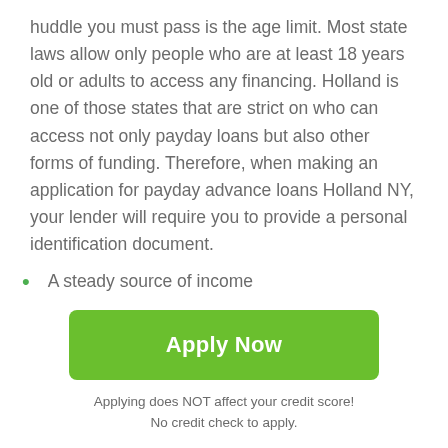huddle you must pass is the age limit. Most state laws allow only people who are at least 18 years old or adults to access any financing. Holland is one of those states that are strict on who can access not only payday loans but also other forms of funding. Therefore, when making an application for payday advance loans Holland NY, your lender will require you to provide a personal identification document.
A steady source of income
Because payday loans are pegged on the next payday salary or paycheck, you must have a steady income s… You must either have a salary or business where direct…
[Figure (other): Scroll-to-top button with white upward arrow on dark gray background]
Apply Now
Applying does NOT affect your credit score! No credit check to apply.